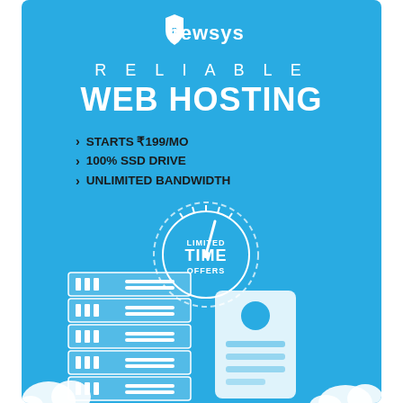[Figure (logo): Newsys shield logo with 'newsys' text in white on blue background]
RELIABLE WEB HOSTING
STARTS ₹199/MO
100% SSD DRIVE
UNLIMITED BANDWIDTH
[Figure (illustration): Clock/speedometer icon with 'LIMITED TIME OFFERS' text, server rack illustration, and document/card icon on blue background. White cloud shapes at bottom corners.]